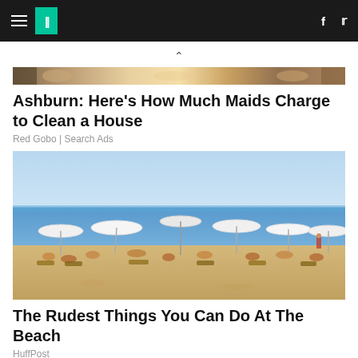HuffPost navigation bar with hamburger menu, logo, Facebook and Twitter icons
[Figure (screenshot): Partial cropped image of people at top of page (advertisement image strip)]
Ashburn: Here's How Much Maids Charge to Clean a House
Red Gobo | Search Ads
[Figure (photo): Beach scene with many people sunbathing under white umbrellas and parasols, blue sea and sky in background, sandy foreground with lounge chairs]
The Rudest Things You Can Do At The Beach
HuffPost